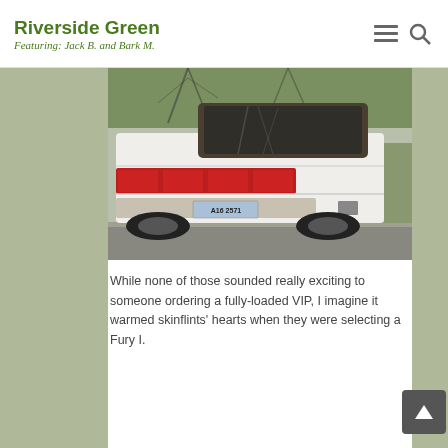Riverside Green — Featuring: Jack B. and Bark M.
[Figure (photo): Rear view of a white classic Plymouth Fury I parked on a residential street, showing tail lights, rear bumper, and license plate reading 'A16 2571'. Bare winter trees reflected in rear window.]
While none of those sounded really exciting to someone ordering a fully-loaded VIP, I imagine it warmed skinflints' hearts when they were selecting a Fury I.
[Figure (photo): Close-up side view of a tan/beige classic Plymouth Fury I showing the quarter panel, a small black name badge, and a partially visible rear wheel.]